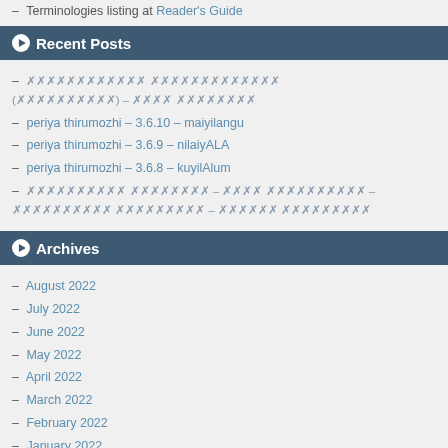– Terminologies listing at Reader's Guide
Recent Posts
– [unicode text] ([unicode text]) – [unicode] [unicode text]
– periya thirumozhi – 3.6.10 – maiyilangu
– periya thirumozhi – 3.6.9 – nilaiyALA
– periya thirumozhi – 3.6.8 – kuyilAlum
– [unicode text] [unicode text] – [unicode] [unicode text] – [unicode text] [unicode text] – [unicode] [unicode text]
Archives
– August 2022
– July 2022
– June 2022
– May 2022
– April 2022
– March 2022
– February 2022
– January 2022
– December 2021